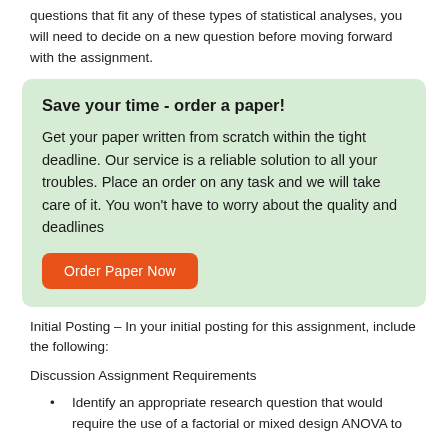questions that fit any of these types of statistical analyses, you will need to decide on a new question before moving forward with the assignment.
Save your time - order a paper!

Get your paper written from scratch within the tight deadline. Our service is a reliable solution to all your troubles. Place an order on any task and we will take care of it. You won't have to worry about the quality and deadlines

Order Paper Now
Initial Posting – In your initial posting for this assignment, include the following:
Discussion Assignment Requirements
Identify an appropriate research question that would require the use of a factorial or mixed design ANOVA to